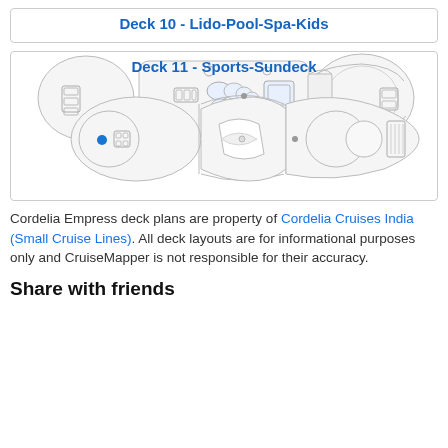Deck 10 - Lido-Pool-Spa-Kids
[Figure (schematic): Deck 10 ship floor plan diagram showing Lido, Pool, Spa, and Kids areas with blue marker dots indicating facilities]
Deck 11 - Sports-Sundeck
[Figure (schematic): Deck 11 ship floor plan diagram showing Sports and Sundeck areas with blue marker dot]
Cordelia Empress deck plans are property of Cordelia Cruises India (Small Cruise Lines). All deck layouts are for informational purposes only and CruiseMapper is not responsible for their accuracy.
Share with friends